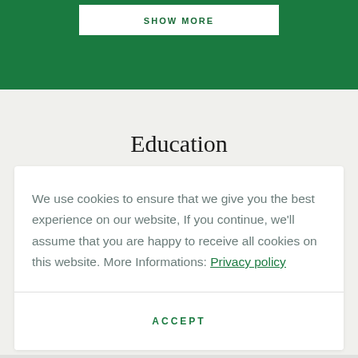SHOW MORE
Education
We use cookies to ensure that we give you the best experience on our website, If you continue, we'll assume that you are happy to receive all cookies on this website. More Informations: Privacy policy
ACCEPT